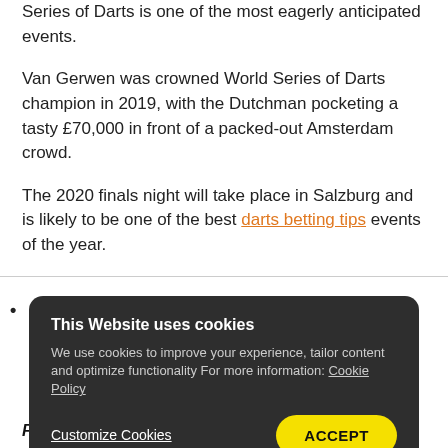Series of Darts is one of the most eagerly anticipated events.
Van Gerwen was crowned World Series of Darts champion in 2019, with the Dutchman pocketing a tasty £70,000 in front of a packed-out Amsterdam crowd.
The 2020 finals night will take place in Salzburg and is likely to be one of the best darts betting tips events of the year.
This Website uses cookies
We use cookies to improve your experience, tailor content and optimize functionality For more information: Cookie Policy
Customize Cookies    ACCEPT
FIRST PUBLISHED: 31st July 2020